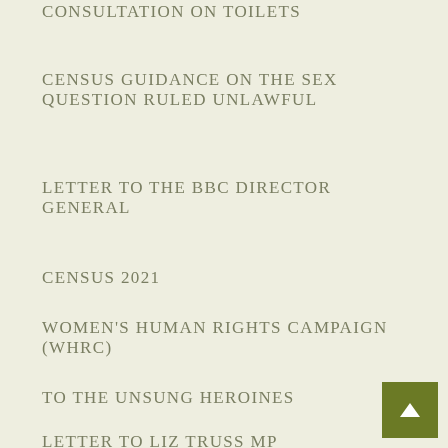CONSULTATION ON TOILETS
CENSUS GUIDANCE ON THE SEX QUESTION RULED UNLAWFUL
LETTER TO THE BBC DIRECTOR GENERAL
CENSUS 2021
WOMEN'S HUMAN RIGHTS CAMPAIGN (WHRC)
TO THE UNSUNG HEROINES
LETTER TO LIZ TRUSS MP